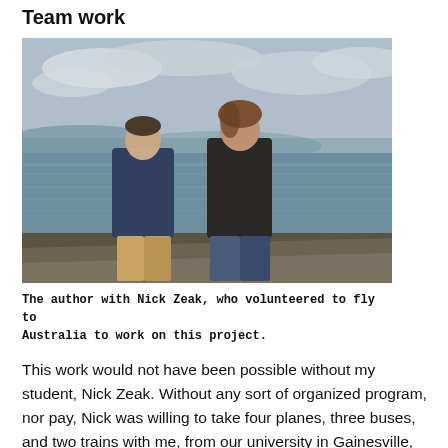Team work
[Figure (photo): Two young men standing outdoors on a rocky overlook with a large body of water and cloudy sky behind them. The man on the left wears a dark blue sweater and tan pants; the man on the right wears a dark jacket and jeans.]
The author with Nick Zeak, who volunteered to fly to Australia to work on this project.
This work would not have been possible without my student, Nick Zeak. Without any sort of organized program, nor pay, Nick was willing to take four planes, three buses, and two trains with me, from our university in Gainesville, Florida to the opposite side of the globe in Cairns, Australia in order to take on this project. I consider myself deeply honored to have had